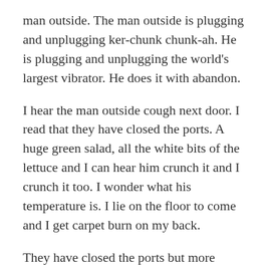man outside. The man outside is plugging and unplugging ker-chunk chunk-ah. He is plugging and unplugging the world's largest vibrator. He does it with abandon.
I hear the man outside cough next door. I read that they have closed the ports. A huge green salad, all the white bits of the lettuce and I can hear him crunch it and I crunch it too. I wonder what his temperature is. I lie on the floor to come and I get carpet burn on my back.
They have closed the ports but more people are getting it still. I think what is spreading it is the sheer force of my wanking. I am not getting tired and it doesn't hurt which seems incredible.
I put my face in my pillow so I can't breathe and that's a new thing. The man outside, his giant, ridiculous